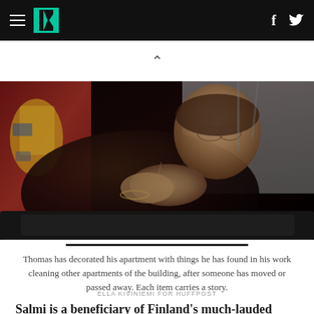HuffPost navigation header with hamburger menu, logo, Facebook and Twitter icons
[Figure (photo): A man sitting on a dark sofa, hands clasped together, looking to the right. He wears a black hoodie and bracelets/jewelry including a cross necklace. A colorful red flag with an emblem is visible in the background on the left. A white wall with a lamp or stand is visible on the right.]
Thomas has decorated his apartment with things he has found in his work cleaning other apartments of the building, after someone has moved or passed away. Each item carries a story.
ELLA KIVINIEMI FOR HUFFPOST
Salmi is a beneficiary of Finland's much-lauded